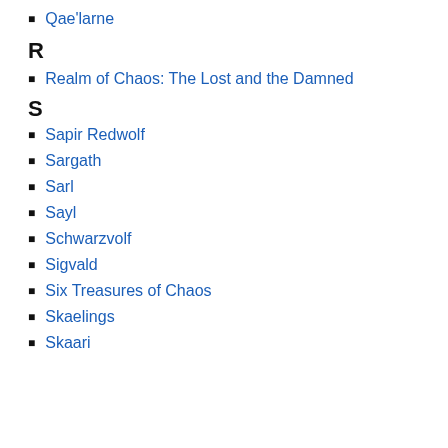Qae'larne
R
Realm of Chaos: The Lost and the Damned
S
Sapir Redwolf
Sargath
Sarl
Sayl
Schwarzvolf
Sigvald
Six Treasures of Chaos
Skaelings
Skaari